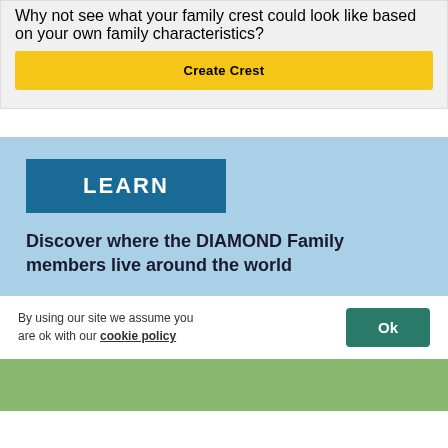Why not see what your family crest could look like based on your own family characteristics?
Create Crest
LEARN
Discover where the DIAMOND Family members live around the world
By using our site we assume you are ok with our cookie policy
Ok